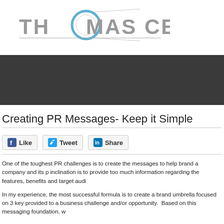[Figure (logo): Thomas Center logo with stylized globe/circle graphic and text 'THOMAS CENTER' in large gray letters]
[Figure (other): Dark gray banner/header bar]
Creating PR Messages- Keep it Simple
[Figure (other): Social sharing buttons: Like, Tweet, Share]
One of the toughest PR challenges is to create the messages to help brand a company and its p inclination is to provide too much information regarding the features, benefits and target audi
In my experience, the most successful formula is to create a brand umbrella focused on 3 key provided to a business challenge and/or opportunity. Based on this messaging foundation, w